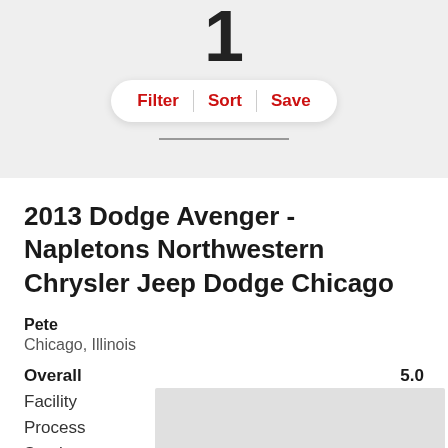1
Filter | Sort | Save
2013 Dodge Avenger - Napletons Northwestern Chrysler Jeep Dodge Chicago
Pete
Chicago, Illinois
Overall 5.0
Facility 5.0
Process 5.0
Service 5.0